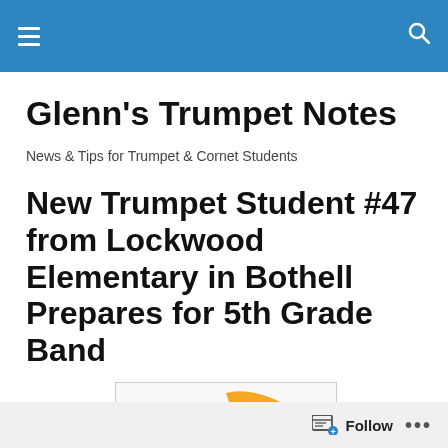Glenn's Trumpet Notes
Glenn's Trumpet Notes
News & Tips for Trumpet & Cornet Students
New Trumpet Student #47 from Lockwood Elementary in Bothell Prepares for 5th Grade Band
[Figure (illustration): Partial illustration of cartoon trumpet players or musical figures, cropped at bottom of page]
Follow ...